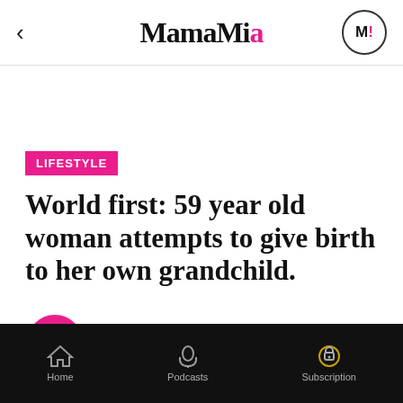MamaMia
LIFESTYLE
World first: 59 year old woman attempts to give birth to her own grandchild.
MAMAMIA TEAM
FEBRUARY 23, 2015
Home  Podcasts  Subscription